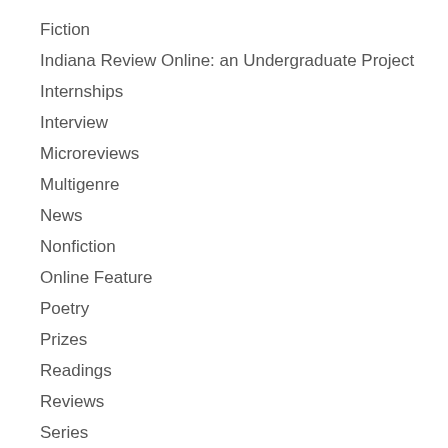Fiction
Indiana Review Online: an Undergraduate Project
Internships
Interview
Microreviews
Multigenre
News
Nonfiction
Online Feature
Poetry
Prizes
Readings
Reviews
Series